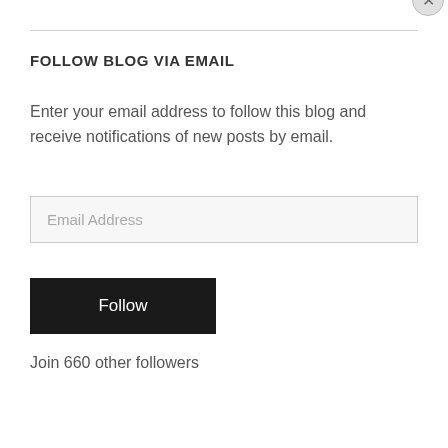FOLLOW BLOG VIA EMAIL
Enter your email address to follow this blog and receive notifications of new posts by email.
[Figure (screenshot): Email Address input field (text box with placeholder text 'Email Address')]
[Figure (screenshot): Black 'Follow' button]
Join 660 other followers
Privacy & Cookies: This site uses cookies. By continuing to use this website, you agree to their use.
To find out more, including how to control cookies, see here: Cookie Policy
Close and accept